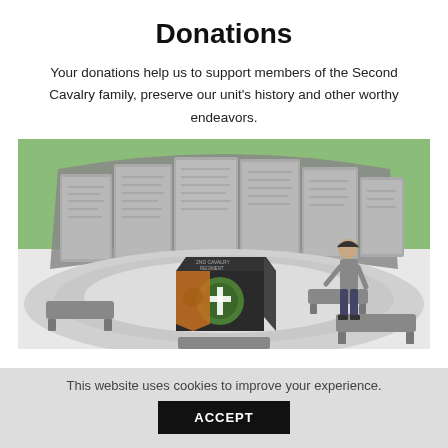Donations
Your donations help us to support members of the Second Cavalry family, preserve our unit's history and other worthy endeavors.
[Figure (illustration): 3D rendering illustration of a curved memorial wall with engraved panels, a central cube display with the Second Cavalry Regiment insignia (green wreath with white cross on black background, orange shield on side), benches arranged around a circular paved area, and a figure of a person standing to the right.]
This website uses cookies to improve your experience.